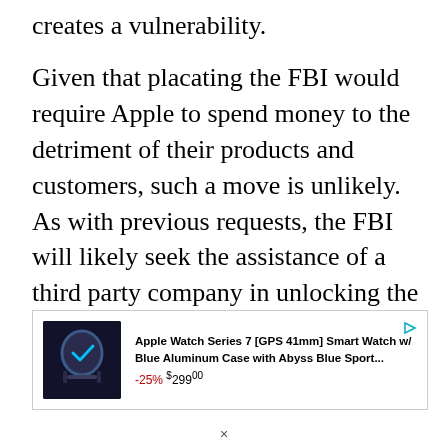creates a vulnerability.
Given that placating the FBI would require Apple to spend money to the detriment of their products and customers, such a move is unlikely. As with previous requests, the FBI will likely seek the assistance of a third party company in unlocking the assailant's iPhone.
[Figure (other): Advertisement for Apple Watch Series 7 [GPS 41mm] Smart Watch w/ Blue Aluminum Case with Abyss Blue Sport... showing -25% $299.00 price, with product image on left]
×